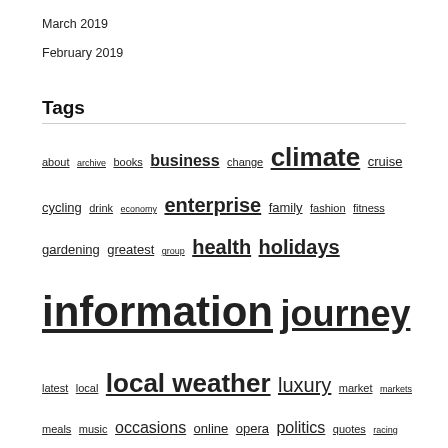March 2019
February 2019
Tags
about archive books business change climate cruise cycling drink economy enterprise family fashion fitness gardening greatest group health holidays information journey latest local local weather luxury market markets meals music occasions online opera politics quotes racing science tennis time tours travel united vacation weather wikipedia world